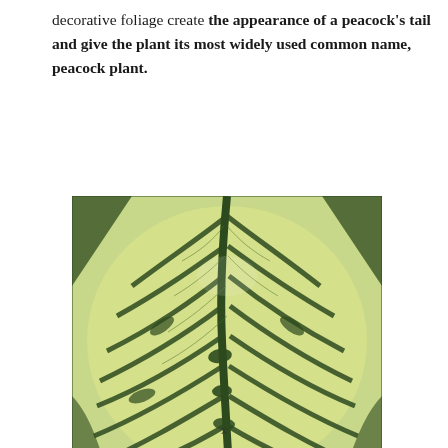decorative foliage create the appearance of a peacock's tail and give the plant its most widely used common name, peacock plant.
[Figure (photo): Close-up photograph of a peacock plant (Calathea) leaf showing distinctive dark green and light yellow-green striped pattern radiating from the central midrib, resembling a peacock's tail feather.]
x